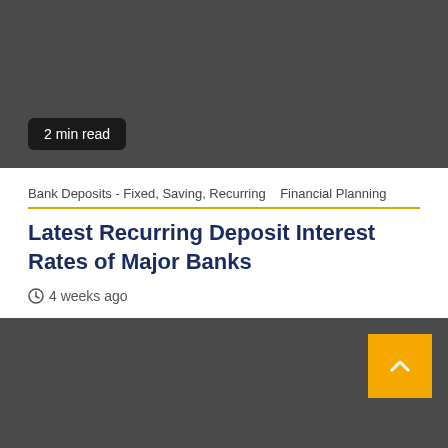[Figure (photo): Dark grey image block at the top of the page with a '2 min read' badge in the bottom-left corner]
Bank Deposits - Fixed, Saving, Recurring   Financial Planning
Latest Recurring Deposit Interest Rates of Major Banks
4 weeks ago
[Figure (photo): Dark grey image block at the bottom of the page with a yellow scroll-to-top button in the top-right corner]